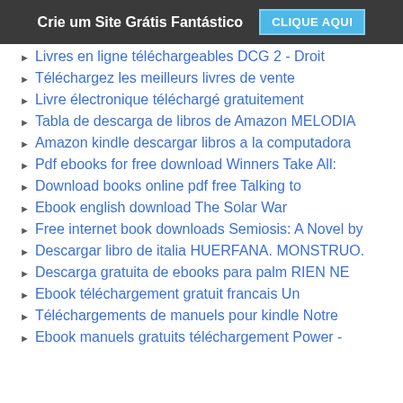Crie um Site Grátis Fantástico   CLIQUE AQUI
Livres en ligne téléchargeables DCG 2 - Droit
Téléchargez les meilleurs livres de vente
Livre électronique téléchargé gratuitement
Tabla de descarga de libros de Amazon MELODIA
Amazon kindle descargar libros a la computadora
Pdf ebooks for free download Winners Take All:
Download books online pdf free Talking to
Ebook english download The Solar War
Free internet book downloads Semiosis: A Novel by
Descargar libro de italia HUERFANA. MONSTRUO.
Descarga gratuita de ebooks para palm RIEN NE
Ebook téléchargement gratuit francais Un
Téléchargements de manuels pour kindle Notre
Ebook manuels gratuits téléchargement Power -